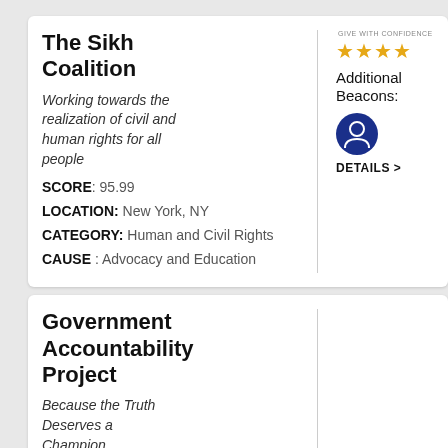The Sikh Coalition
Working towards the realization of civil and human rights for all people
SCORE: 95.99
LOCATION: New York, NY
CATEGORY: Human and Civil Rights
CAUSE : Advocacy and Education
Additional Beacons: DETAILS >
Government Accountability Project
Because the Truth Deserves a Champion
SCORE: 95.98